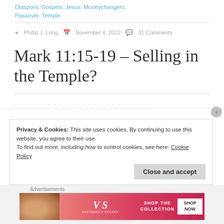Diaspora, Gospels, Jesus, Moneychangers, Passover, Temple
Phillip J. Long   November 4, 2012   31 Comments
Mark 11:15-19 – Selling in the Temple?
Privacy & Cookies: This site uses cookies. By continuing to use this website, you agree to their use.
To find out more, including how to control cookies, see here: Cookie Policy
Close and accept
Advertisements
[Figure (photo): Victoria's Secret advertisement banner with woman's face and 'SHOP THE COLLECTION / SHOP NOW' text]